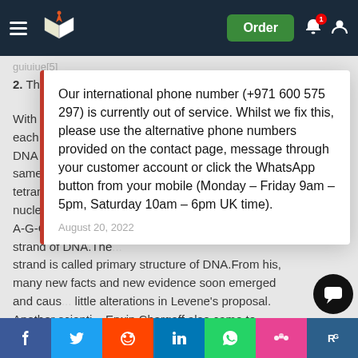Navigation header with logo and Order button
2. The pyrimidines are cytosine and thymine
With the purines each with a single DNA have their co same way. He also tetranucleotide str nucleotides are alw A-G-C-T-A).The n strand of DNA.The strand is called primary structure of DNA.From his, many new facts and new evidence soon emerged and caus little alterations in Levene’s proposal. Another scienti Erwin Chargaff also came to strengthen the foundation by bringing fo e of DNA.
Our international phone number (+971 600 575 297) is currently out of service. Whilst we fix this, please use the alternative phone numbers provided on the contact page, message through your customer account or click the WhatsApp button from your mobile (Monday – Friday 9am – 5pm, Saturday 10am – 6pm UK time).
August 20, 2022
Social share bar: Facebook, Twitter, Reddit, LinkedIn, WhatsApp, Mendeley, ResearchGate